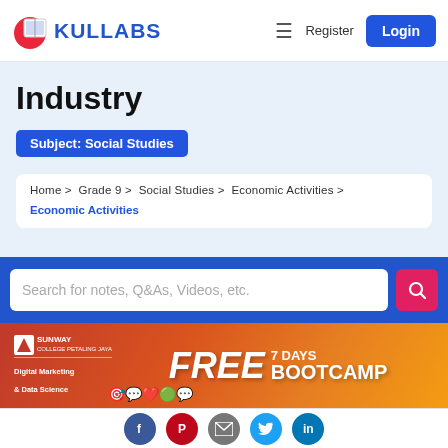Kullabs | Register | Login
Industry
Subject: Social Studies
Home > Grade 9 > Social Studies > Economic Activities > Economic Activities
Search for notes, Q&As, Videos, etc.
[Figure (illustration): Sunway College advertisement banner for FREE 7 Days Bootcamp in Digital Marketing & Data Science]
Social media icons: Facebook, Pinterest, Email, Twitter, LinkedIn